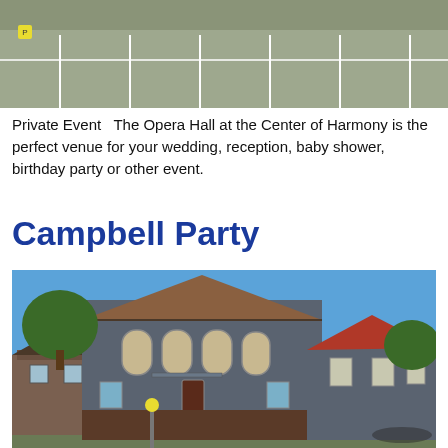[Figure (photo): Aerial or street-level view of a road/parking area with white striped markings and a small yellow sign visible]
Private Event   The Opera Hall at the Center of Harmony is the perfect venue for your wedding, reception, baby shower, birthday party or other event.
Campbell Party
[Figure (photo): Exterior photo of a large grey building with a steep gabled roof (The Opera Hall at the Center of Harmony) on a sunny day, with trees and a smaller brick building visible to the left and a red-roofed annex on the right]